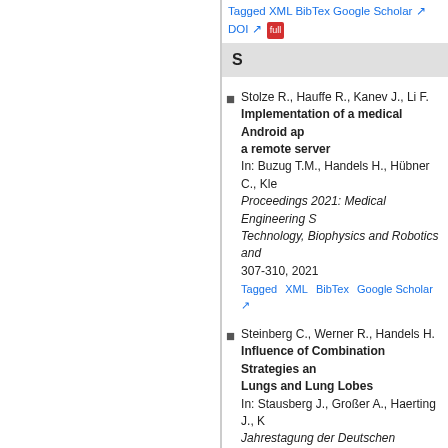Tagged  XML  BibTex  Google Scholar  DOI
S
Stolze R., Hauffe R., Kanev J., Li F. Implementation of a medical Android ap... a remote server In: Buzug T.M., Handels H., Hübner C., Kl... Proceedings 2021: Medical Engineering S... Technology, Biophysics and Robotics and... 307-310, 2021 Tagged  XML  BibTex  Google Scholar
Steinberg C., Werner R., Handels H. Influence of Combination Strategies an... Lungs and Lung Lobes In: Stausberg J., Großer A., Haerting J., K... Jahrestagung der Deutschen Gesellschaft... (GMDS), Braunschweig, ID217,277-278, 2... Tagged  XML  BibTex  Google Scholar
Seitzer C., Piet A., Schilling F., Grzegorze... Improving the Usability of a User Interfa... In: Buzug T.M., Handels H., Klein S., Hübr... Proceedings 2022: Medical Engineering S... Technology, Biophysics and Robotics and... 113-116, 2022 Tagged  XML  BibTex  Google Scholar
Schumacher M., Bade R., Genz A., Heinri... Iterative 3D CNN based Segmentation o... In: Maier-Hein K., Deserno T., Handels H.,